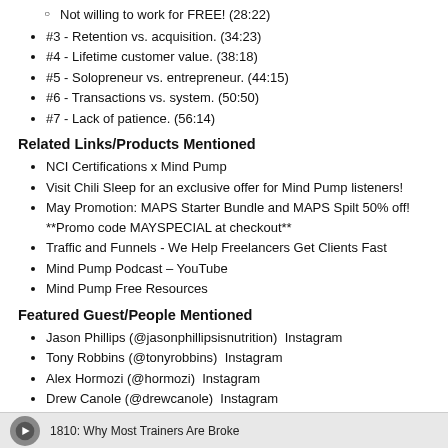Not willing to work for FREE! (28:22)
#3 - Retention vs. acquisition. (34:23)
#4 - Lifetime customer value. (38:18)
#5 - Solopreneur vs. entrepreneur. (44:15)
#6 - Transactions vs. system. (50:50)
#7 - Lack of patience. (56:14)
Related Links/Products Mentioned
NCI Certifications x Mind Pump
Visit Chili Sleep for an exclusive offer for Mind Pump listeners!
May Promotion: MAPS Starter Bundle and MAPS Spilt 50% off! **Promo code MAYSPECIAL at checkout**
Traffic and Funnels - We Help Freelancers Get Clients Fast
Mind Pump Podcast – YouTube
Mind Pump Free Resources
Featured Guest/People Mentioned
Jason Phillips (@jasonphillipsisnutrition)  Instagram
Tony Robbins (@tonyrobbins)  Instagram
Alex Hormozi (@hormozi)  Instagram
Drew Canole (@drewcanole)  Instagram
Taylor Welch (@taylorawelch)  Instagram
Chris Evans (@traffic.funnels)  Instagram
1810: Why Most Trainers Are Broke